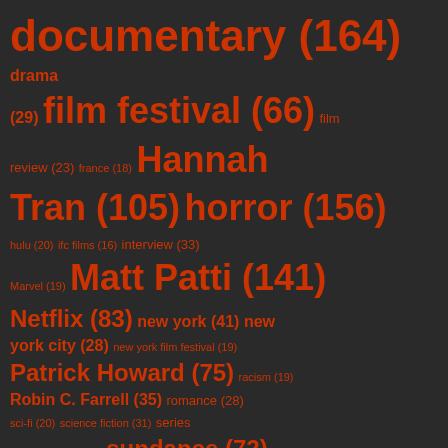[Figure (infographic): Tag cloud on dark background showing film/media related tags in orange with varying font sizes indicating frequency. Tags include: documentary (164), drama (29), film festival (66), film review (23), france (18), Hannah Tran (105), horror (156), hulu (20), ifc films (16), interview (33), Marvel (19), Matt Patti (141), Netflix (83), new york (41), new york city (28), new york film festival (19), Patrick Howard (75), racism (19), Robin C. Farrell (35), romance (28), sci-fi (20), science fiction (31), series (25), Shudder (30), sundance (72), sundance film festival (38), SXSW (32), SXSW2021 (17), thriller (59), toronto international film festival (17)]